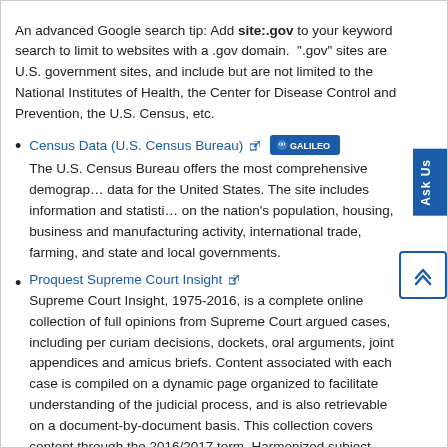An advanced Google search tip: Add site:.gov to your keyword search to limit to websites with a .gov domain. ".gov" sites are U.S. government sites, and include but are not limited to the National Institutes of Health, the Center for Disease Control and Prevention, the U.S. Census, etc.
Census Data (U.S. Census Bureau) [external link] [GALILEO badge]
The U.S. Census Bureau offers the most comprehensive demographic data for the United States. The site includes information and statistics on the nation's population, housing, business and manufacturing activity, international trade, farming, and state and local governments.
Proquest Supreme Court Insight [external link]
Supreme Court Insight, 1975-2016, is a complete online collection of full opinions from Supreme Court argued cases, including per curiam decisions, dockets, oral arguments, joint appendices and amicus briefs. Content associated with each case is compiled on a dynamic page organized to facilitate understanding of the judicial process, and is also retrievable on a document-by-document basis. This collection covers content through the 2016/2017 term. Harmonized subject indexing facilitates the ability of researchers to assess specific cases and groups of cases.